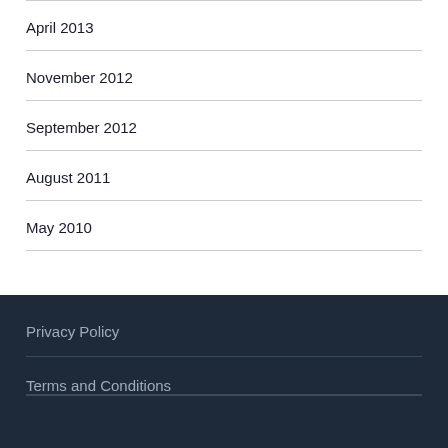April 2013
November 2012
September 2012
August 2011
May 2010
Privacy Policy
Terms and Conditions